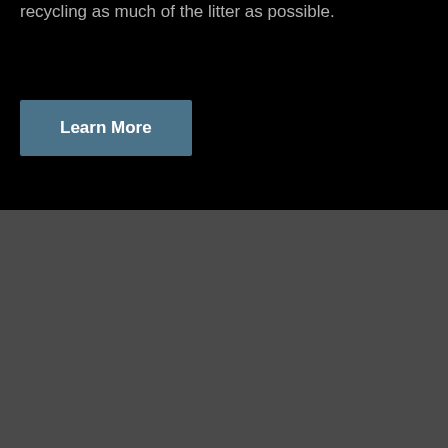traps and compiles data on the items caught in them, recycling as much of the litter as possible.
Learn More
(251) 525-9727
© 2022 All rights Reserved.   Privacy Policy
[Figure (infographic): Social media icons: Facebook, Instagram, Twitter, LinkedIn]